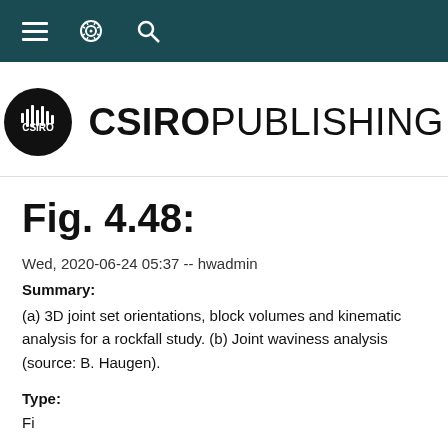CSIRO PUBLISHING — navigation bar with hamburger, gear, and search icons
[Figure (logo): CSIRO Publishing logo: black circle with CSIRO waveform icon on left, bold CSIRO followed by PUBLISHING text on right]
Fig. 4.48:
Wed, 2020-06-24 05:37 -- hwadmin
Summary:
(a) 3D joint set orientations, block volumes and kinematic analysis for a rockfall study. (b) Joint waviness analysis (source: B. Haugen).
Type:
Fi...